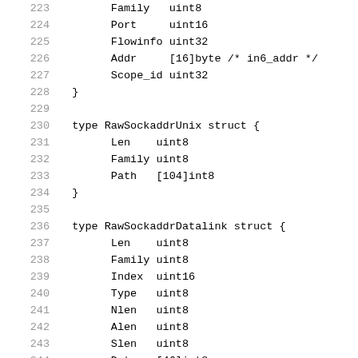223    Family   uint8
224    Port     uint16
225    Flowinfo uint32
226    Addr     [16]byte /* in6_addr */
227    Scope_id uint32
228  }
229
230  type RawSockaddrUnix struct {
231    Len    uint8
232    Family uint8
233    Path   [104]int8
234  }
235
236  type RawSockaddrDatalink struct {
237    Len    uint8
238    Family uint8
239    Index  uint16
240    Type   uint8
241    Nlen   uint8
242    Alen   uint8
243    Slen   uint8
244    Data   [46]int8